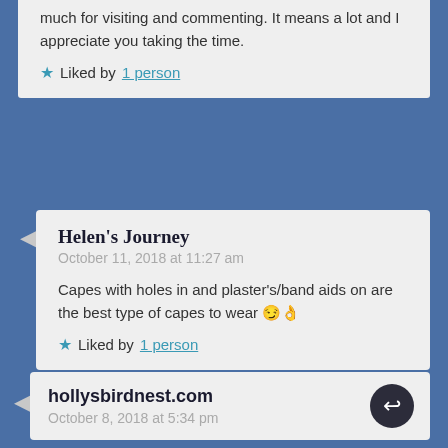much for visiting and commenting. It means a lot and I appreciate you taking the time.
★ Liked by 1 person
Helen's Journey
October 11, 2018 at 11:27 am
Capes with holes in and plaster's/band aids on are the best type of capes to wear 😉👌
★ Liked by 1 person
hollysbirdnest.com
October 8, 2018 at 5:34 pm